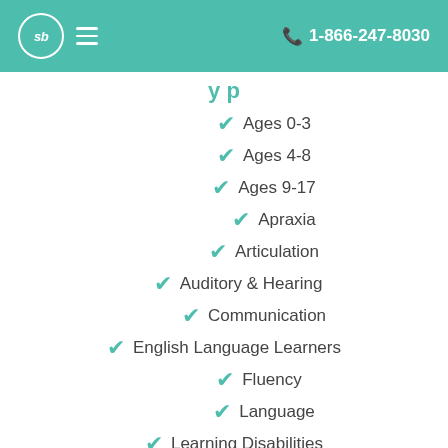sb  ☰    📞 1-866-247-8030
y p
Ages 0-3
Ages 4-8
Ages 9-17
Apraxia
Articulation
Auditory & Hearing
Communication
English Language Learners
Fluency
Language
Learning Disabilities